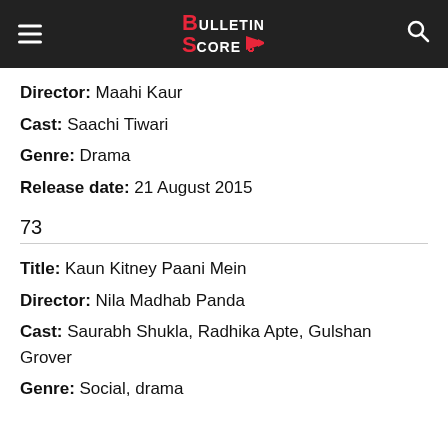Bulletin Score
Director: Maahi Kaur
Cast: Saachi Tiwari
Genre: Drama
Release date: 21 August 2015
73
Title: Kaun Kitney Paani Mein
Director: Nila Madhab Panda
Cast: Saurabh Shukla, Radhika Apte, Gulshan Grover
Genre: Social, drama